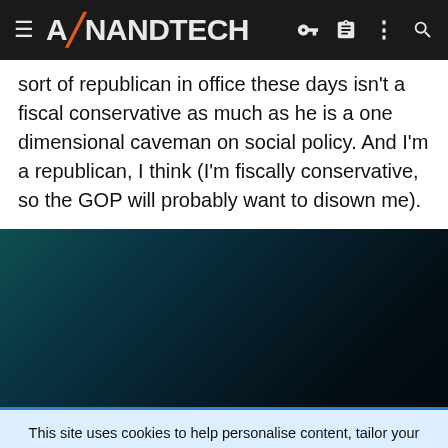AnandTech
sort of republican in office these days isn't a fiscal conservative as much as he is a one dimensional caveman on social policy. And I'm a republican, I think (I'm fiscally conservative, so the GOP will probably want to disown me).
[Figure (screenshot): Dark teal/black gradient banner area, likely an advertisement or media embed]
This site uses cookies to help personalise content, tailor your experience and to keep you logged in if you register.
By continuing to use this site, you are consenting to our use of cookies.